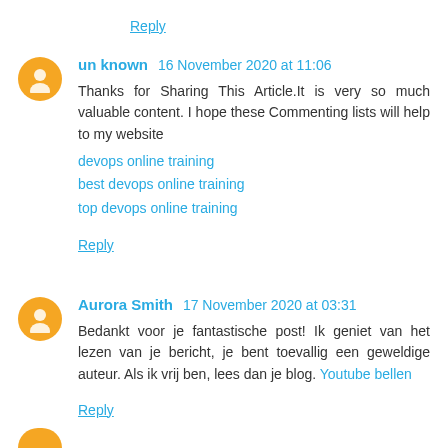Reply
un known  16 November 2020 at 11:06
Thanks for Sharing This Article.It is very so much valuable content. I hope these Commenting lists will help to my website
devops online training
best devops online training
top devops online training
Reply
Aurora Smith  17 November 2020 at 03:31
Bedankt voor je fantastische post! Ik geniet van het lezen van je bericht, je bent toevallig een geweldige auteur. Als ik vrij ben, lees dan je blog. Youtube bellen
Reply